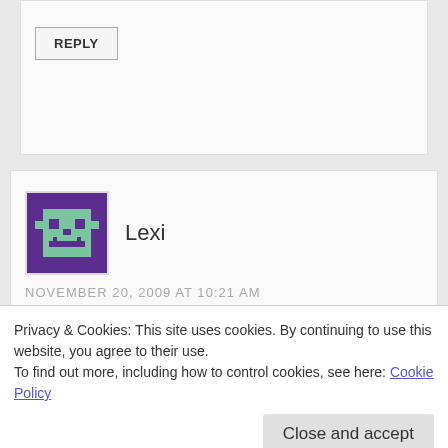REPLY
[Figure (illustration): Pixel art avatar icon for user Lexi — purple background with a green alien/monster face in pixel style]
Lexi
NOVEMBER 20, 2009 AT 10:21 AM
Hi
Privacy & Cookies: This site uses cookies. By continuing to use this website, you agree to their use.
To find out more, including how to control cookies, see here: Cookie Policy
Close and accept
My website is: